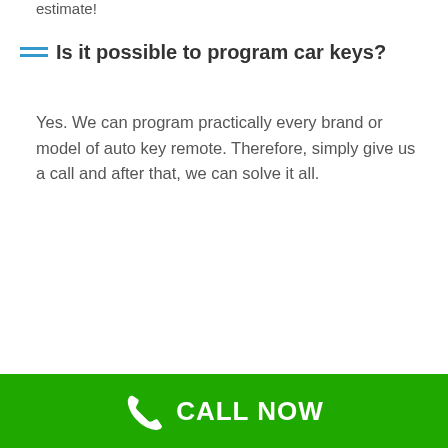estimate!
Is it possible to program car keys?
Yes. We can program practically every brand or model of auto key remote. Therefore, simply give us a call and after that, we can solve it all.
CALL NOW